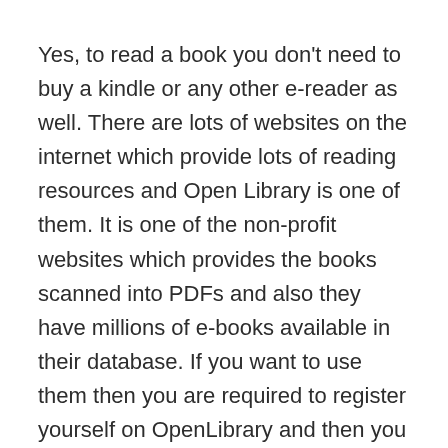Yes, to read a book you don't need to buy a kindle or any other e-reader as well. There are lots of websites on the internet which provide lots of reading resources and Open Library is one of them. It is one of the non-profit websites which provides the books scanned into PDFs and also they have millions of e-books available in their database. If you want to use them then you are required to register yourself on OpenLibrary and then you don't need to pay any registration fee on this website. After registering yourself on this website, you will be able to start searching for the next reading pleasure.
Also, you need to know that it is a website which is